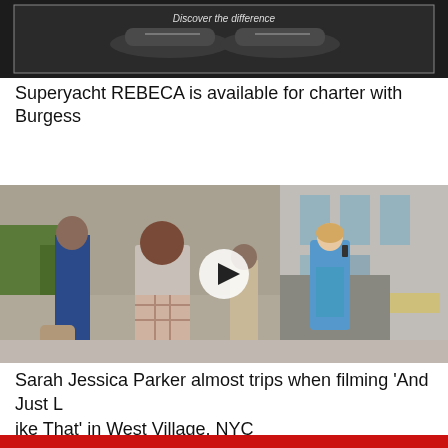[Figure (photo): Advertisement image showing shoes with text 'Discover the difference' on dark background]
Superyacht REBECA is available for charter with Burgess
[Figure (photo): Photo of Sarah Jessica Parker on a city street talking on phone wearing blue outfit, with a play button overlay indicating a video]
Sarah Jessica Parker almost trips when filming 'And Just Like That' in West Village, NYC
[Figure (photo): Thumbnail with red banner text 'FIX THESE 7!' and partial image of a person]